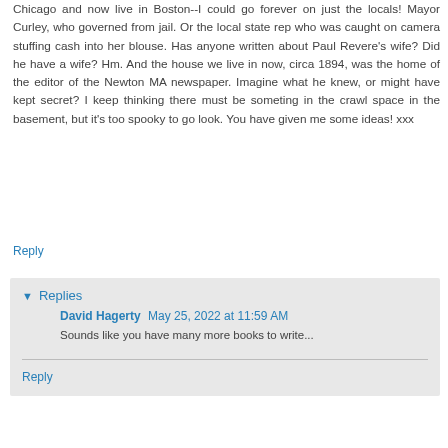Chicago and now live in Boston--I could go forever on just the locals! Mayor Curley, who governed from jail. Or the local state rep who was caught on camera stuffing cash into her blouse. Has anyone written about Paul Revere's wife? Did he have a wife? Hm. And the house we live in now, circa 1894, was the home of the editor of the Newton MA newspaper. Imagine what he knew, or might have kept secret? I keep thinking there must be someting in the crawl space in the basement, but it's too spooky to go look. You have given me some ideas! xxx
Reply
Replies
David Hagerty  May 25, 2022 at 11:59 AM
Sounds like you have many more books to write...
Reply